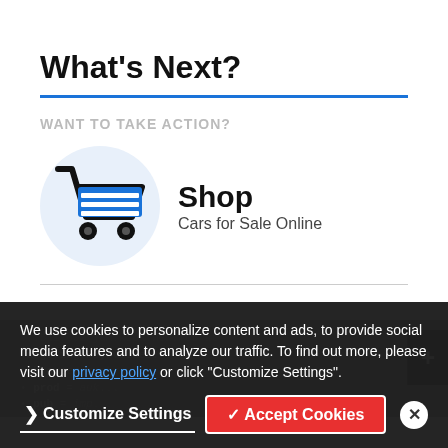What's Next?
WANT TO TAKE ACTION?
[Figure (illustration): Shopping cart icon with blue cart body and black handle and wheels, on a light blue circular background]
Shop
Cars for Sale Online
We use cookies to personalize content and ads, to provide social media features and to analyze our traffic. To find out more, please visit our privacy policy or click "Customize Settings".
Customize Settings   ✓ Accept Cookies